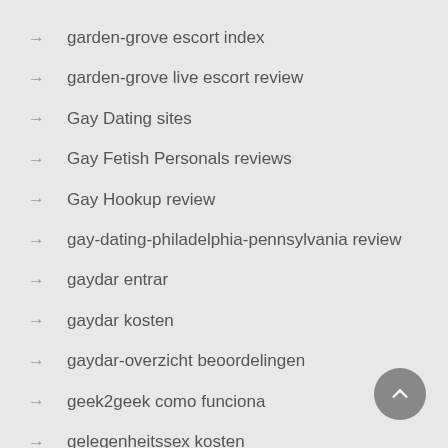garden-grove escort index
garden-grove live escort review
Gay Dating sites
Gay Fetish Personals reviews
Gay Hookup review
gay-dating-philadelphia-pennsylvania review
gaydar entrar
gaydar kosten
gaydar-overzicht beoordelingen
geek2geek como funciona
gelegenheitssex kosten
gente-pequena-citas espa?a